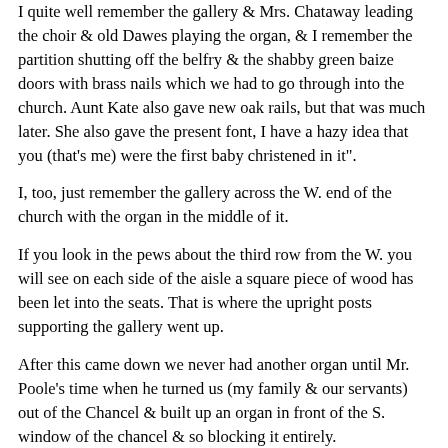I quite well remember the gallery & Mrs. Chataway leading the choir & old Dawes playing the organ, & I remember the partition shutting off the belfry & the shabby green baize doors with brass nails which we had to go through into the church. Aunt Kate also gave new oak rails, but that was much later. She also gave the present font, I have a hazy idea that you (that's me) were the first baby christened in it".
I, too, just remember the gallery across the W. end of the church with the organ in the middle of it.
If you look in the pews about the third row from the W. you will see on each side of the aisle a square piece of wood has been let into the seats. That is where the upright posts supporting the gallery went up.
After this came down we never had another organ until Mr. Poole's time when he turned us (my family & our servants) out of the Chancel & built up an organ in front of the S. window of the chancel & so blocking it entirely.
After the gallery & its organ was pulled down we only had a harmonium which my eldest sister used to play. It was down at the W. end in the S. corner. A raised platform consisting of a series of very broad steps went right across under the W. window & accommodated a very good village choir, who were in their